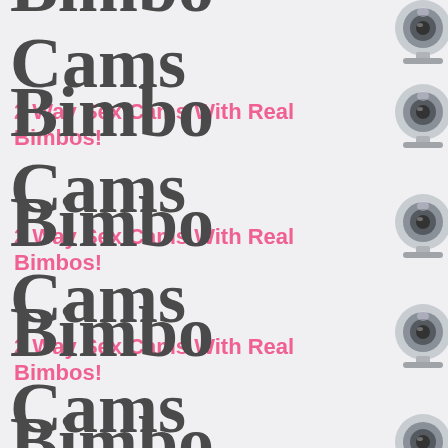[Figure (illustration): Repeating logo pattern: 'Bimbo Cams' in cursive dark gray text with pink subtitle '2 Way Sex Cams With Real Bimbos!' and webcam icon on the right, repeated multiple times vertically]
Bimbo Cams
2 Way Sex Cams With Real Bimbos!
Bimbo Cams
2 Way Sex Cams With Real Bimbos!
Bimbo Cams
2 Way Sex Cams With Real Bimbos!
Bimbo Cams
2 Way Sex Cams With Real Bimbos!